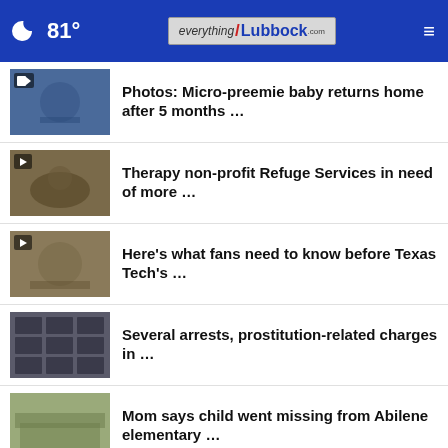81° everything/Lubbock.com
Photos: Micro-preemie baby returns home after 5 months …
Therapy non-profit Refuge Services in need of more …
Here's what fans need to know before Texas Tech's …
Several arrests, prostitution-related charges in …
Mom says child went missing from Abilene elementary …
Arrested Texas women were aiding terrorist ring, …